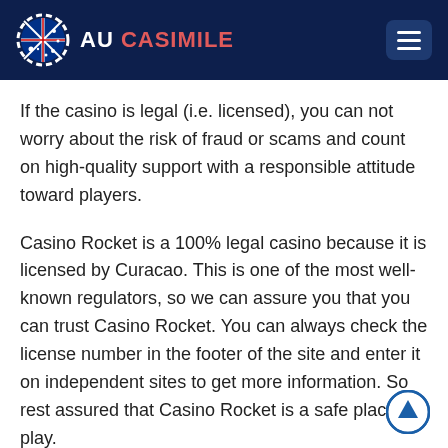AU CASIMILE
If the casino is legal (i.e. licensed), you can not worry about the risk of fraud or scams and count on high-quality support with a responsible attitude toward players.
Casino Rocket is a 100% legal casino because it is licensed by Curacao. This is one of the most well-known regulators, so we can assure you that you can trust Casino Rocket. You can always check the license number in the footer of the site and enter it on independent sites to get more information. So rest assured that Casino Rocket is a safe place to play.